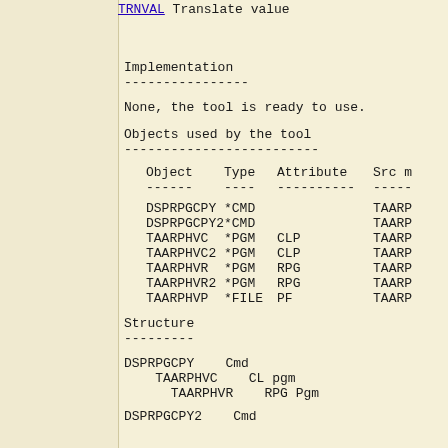TRNVAL    Translate value
Implementation
----------------
None, the tool is ready to use.
Objects used by the tool
-------------------------
| Object | Type | Attribute | Src m |
| --- | --- | --- | --- |
| DSPRPGCPY | *CMD |  | TAARP |
| DSPRPGCPY2 | *CMD |  | TAARP |
| TAARPHVC | *PGM | CLP | TAARP |
| TAARPHVC2 | *PGM | CLP | TAARP |
| TAARPHVR | *PGM | RPG | TAARP |
| TAARPHVR2 | *PGM | RPG | TAARP |
| TAARPHVP | *FILE | PF | TAARP |
Structure
---------
DSPRPGCPY    Cmd
    TAARPHVC    CL pgm
      TAARPHVR    RPG Pgm
DSPRPGCPY2    Cmd